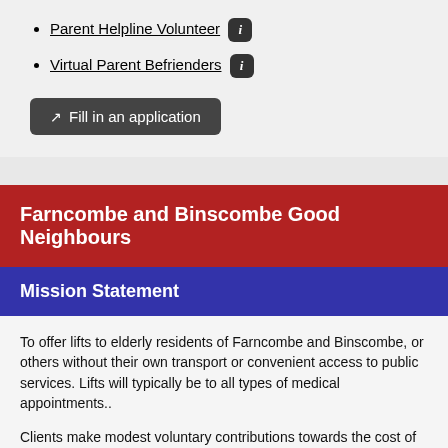Parent Helpline Volunteer
Virtual Parent Befrienders
Fill in an application
Farncombe and Binscombe Good Neighbours
Mission Statement
To offer lifts to elderly residents of Farncombe and Binscombe, or others without their own transport or convenient access to public services. Lifts will typically be to all types of medical appointments..
Clients make modest voluntary contributions towards the cost of the driver's car expenses..
Drivers offer a personal service using their own vehicles. Clients make requests via a mobile number which is manned on...